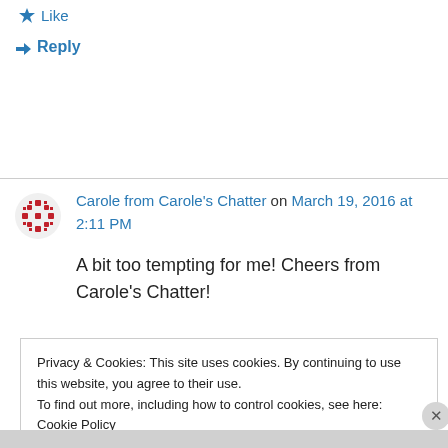Like
Reply
Carole from Carole's Chatter on March 19, 2016 at 2:11 PM
A bit too tempting for me! Cheers from Carole's Chatter!
Privacy & Cookies: This site uses cookies. By continuing to use this website, you agree to their use.
To find out more, including how to control cookies, see here: Cookie Policy
Close and accept